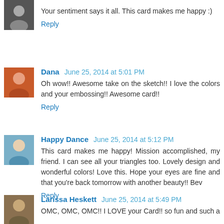Your sentiment says it all. This card makes me happy :)
Reply
Dana  June 25, 2014 at 5:01 PM
Oh wow!! Awesome take on the sketch!! I love the colors and your embossing!! Awesome card!!
Reply
Happy Dance  June 25, 2014 at 5:12 PM
This card makes me happy! Mission accomplished, my friend. I can see all your triangles too. Lovely design and wonderful colors! Love this. Hope your eyes are fine and that you're back tomorrow with another beauty!! Bev
Reply
Larissa Heskett  June 25, 2014 at 5:49 PM
OMC, OMC, OMC!! I LOVE your Card!! so fun and such a